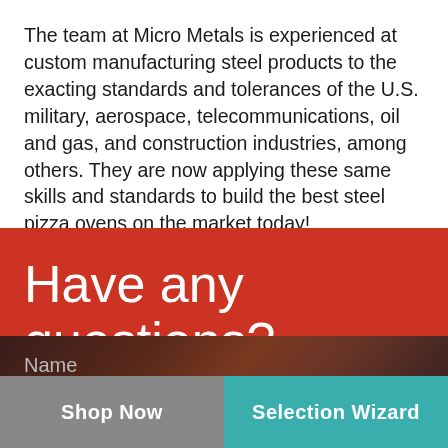The team at Micro Metals is experienced at custom manufacturing steel products to the exacting standards and tolerances of the U.S. military, aerospace, telecommunications, oil and gas, and construction industries, among others. They are now applying these same skills and standards to build the best steel pizza ovens on the market today!
Have any questions?
Name
Shop Now
Selection Wizard